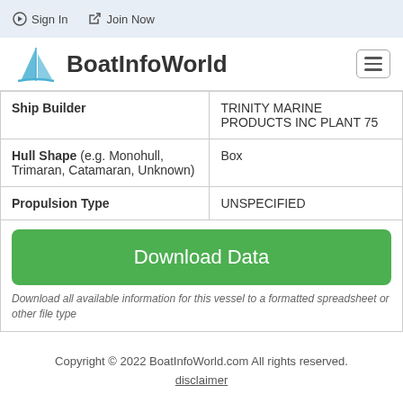Sign In   Join Now
[Figure (logo): BoatInfoWorld logo with sailboat icon and text]
| Field | Value |
| --- | --- |
| Ship Builder | TRINITY MARINE PRODUCTS INC PLANT 75 |
| Hull Shape (e.g. Monohull, Trimaran, Catamaran, Unknown) | Box |
| Propulsion Type | UNSPECIFIED |
Download Data
Download all available information for this vessel to a formatted spreadsheet or other file type
Copyright © 2022 BoatInfoWorld.com All rights reserved. disclaimer